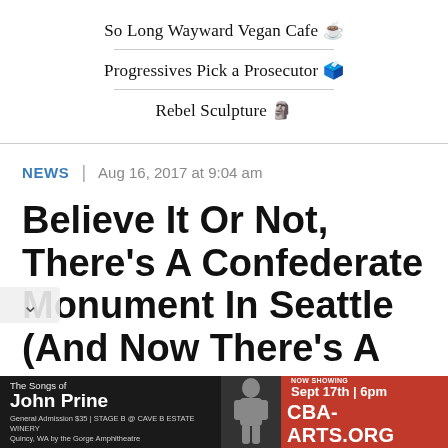So Long Wayward Vegan Cafe ☕
Progressives Pick a Prosecutor 🗳️
Rebel Sculpture 🗿
NEWS | Aug 16, 2017 at 9:04 am
Believe It Or Not, There's A Confederate Monument In Seattle (And Now There's A
[Figure (infographic): Advertisement banner for The Songs of John Prine, NOW SHOWING Sept 17th | 6pm, General Admission $35 | STAGE B @ CAVE B ESTATE WINERY, Quincy, WA by the Gorge Amphitheatre. CBA-ARTS.ORG]